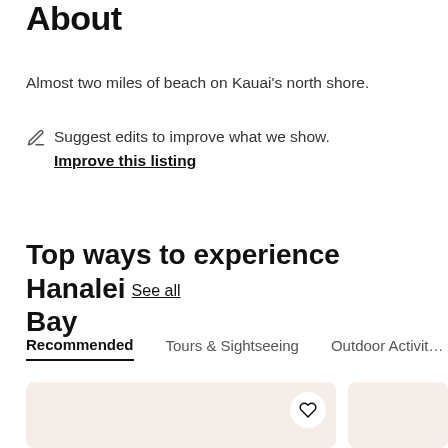About
Almost two miles of beach on Kauai's north shore.
Suggest edits to improve what we show.
Improve this listing
Top ways to experience Hanalei Bay
Recommended
Tours & Sightseeing
Outdoor Activities
[Figure (illustration): Two activity cards with light pinkish-beige background placeholders; the left card has a heart/bookmark icon button in the top right.]